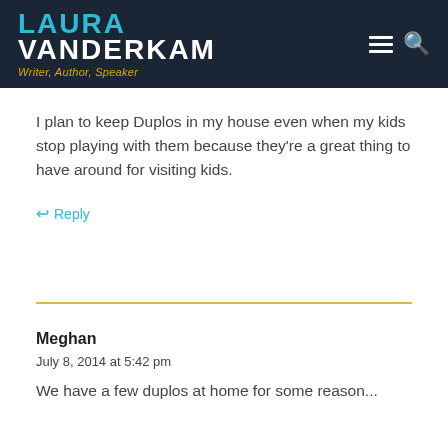LAURA VANDERKAM — Writer, Author, Speaker
I plan to keep Duplos in my house even when my kids stop playing with them because they're a great thing to have around for visiting kids.
↩ Reply
Meghan
July 8, 2014 at 5:42 pm
We have a few duplos at home for some reason...